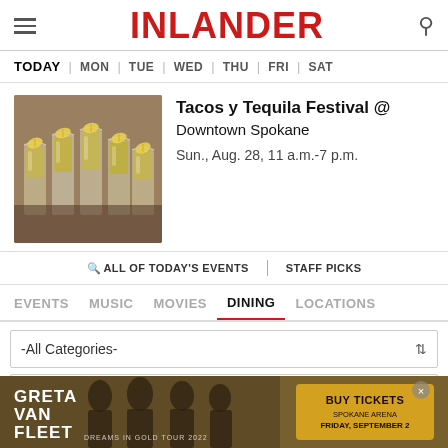INLANDER
TODAY | MON | TUE | WED | THU | FRI | SAT
[Figure (photo): Multiple tequila shots with lime wedges in small glasses lined up on a surface]
Tacos y Tequila Festival @ Downtown Spokane
Sun., Aug. 28, 11 a.m.-7 p.m.
ALL OF TODAY'S EVENTS | STAFF PICKS
EVENTS   MUSIC   MOVIES   DINING   LOCATIONS
-All Categories-
-All Neighborhoods-
[Figure (photo): Greta Van Fleet advertisement banner: Dreams in Gold Tour 2022. Shows band members with text BUY TICKETS, Spokane Arena, Friday, September 2]